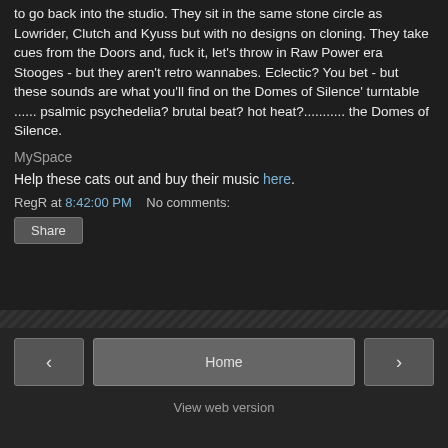to go back into the studio. They sit in the same stone circle as Lowrider, Clutch and Kyuss but with no designs on cloning. They take cues from the Doors and, fuck it, let's throw in Raw Power era Stooges - but they aren't retro wannabes. Eclectic? You bet - but these sounds are what you'll find on the Domes of Silence' turntable ...... psalmic psychedelia? brutal beat? hot heat?........... the Domes of Silence.
MySpace
Help these cats out and buy their music here.
RegR at 8:42:00 PM   No comments:
Share
< Home > View web version